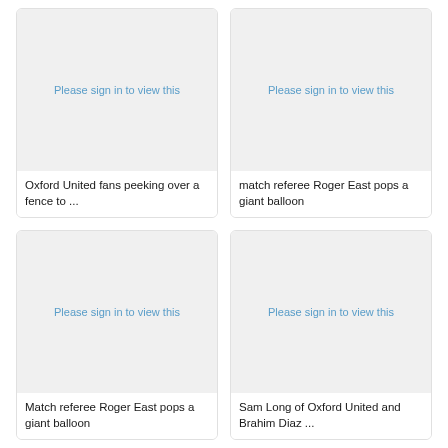[Figure (photo): Placeholder image with sign-in prompt for Oxford United fans image]
Oxford United fans peeking over a fence to ...
[Figure (photo): Placeholder image with sign-in prompt for match referee image]
match referee Roger East pops a giant balloon
[Figure (photo): Placeholder image with sign-in prompt for match referee image 2]
Match referee Roger East pops a giant balloon
[Figure (photo): Placeholder image with sign-in prompt for Sam Long image]
Sam Long of Oxford United and Brahim Diaz ...